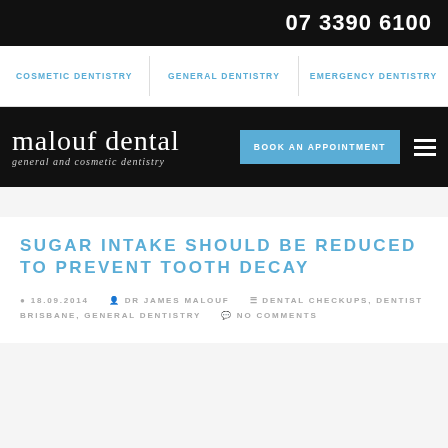07 3390 6100
COSMETIC DENTISTRY  GENERAL DENTISTRY  EMERGENCY DENTISTRY
malouf dental general and cosmetic dentistry  BOOK AN APPOINTMENT
SUGAR INTAKE SHOULD BE REDUCED TO PREVENT TOOTH DECAY
18.09.2014  DR JAMES MALOUF  DENTAL CHECKUPS, DENTIST BRISBANE, GENERAL DENTISTRY  NO COMMENTS